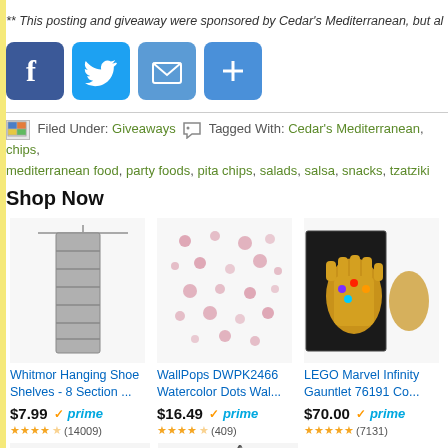** This posting and giveaway were sponsored by Cedar's Mediterranean, but al
[Figure (other): Social sharing buttons: Facebook, Twitter, Email, Add]
Filed Under: Giveaways  Tagged With: Cedar's Mediterranean, chips, mediterranean food, party foods, pita chips, salads, salsa, snacks, tzatziki
Shop Now
[Figure (other): Product: Whitmor Hanging Shoe Shelves - 8 Section ..., $7.99, prime, 4.5 stars (14009)]
[Figure (other): Product: WallPops DWPK2466 Watercolor Dots Wal..., $16.49, prime, 4.5 stars (409)]
[Figure (other): Product: LEGO Marvel Infinity Gauntlet 76191 Co..., $70.00, prime, 5 stars (7131)]
[Figure (other): Bottom product thumbnails and Follow button]